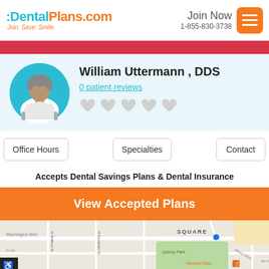DentalPlans.com — Join. Save. Smile. | Join Now 1-855-830-3738
[Figure (screenshot): Red banner strip across the page]
[Figure (illustration): Circular doctor avatar with teal background, cartoon dentist figure in white coat]
William Uttermann , DDS
0 patient reviews
[Figure (illustration): Five gray heart rating icons in a row]
Office Hours
Specialties
Contact
Accepts Dental Savings Plans & Dental Insurance
View Accepted Plans
[Figure (map): Street map showing Washington Blvd, N Randolph St, N Stafford St, N Ute area, SQUARE, Quincy Park, Medium Rare restaurant, Wilson Blvd, 9th R area]